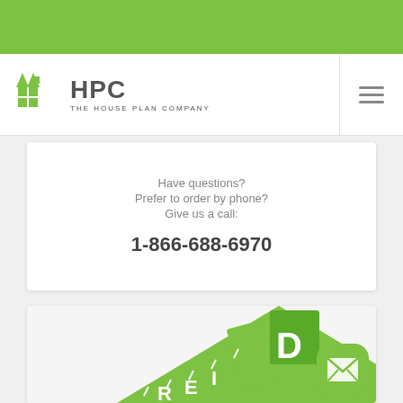[Figure (logo): Green banner at top of page]
HPC THE HOUSE PLAN COMPANY
Have questions?
Prefer to order by phone?
Give us a call:
1-866-688-6970
[Figure (illustration): Green house plan illustration with ruler and pencil icons]
[Figure (other): Green mail/envelope button in bottom right corner]